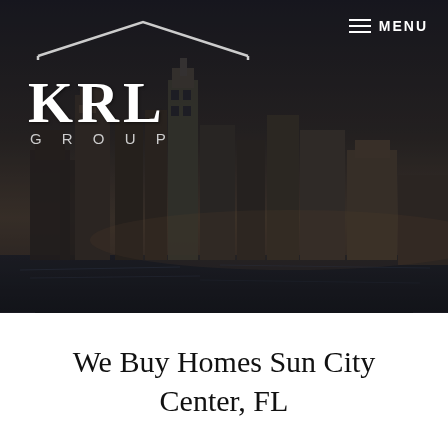[Figure (screenshot): KRL Group website header with city skyline background (Tampa, FL), logo with roof icon, KRL GROUP text, hamburger menu with MENU label]
MENU
We Are Buying Houses in These Areas
We Buy Homes Sun City Center, FL